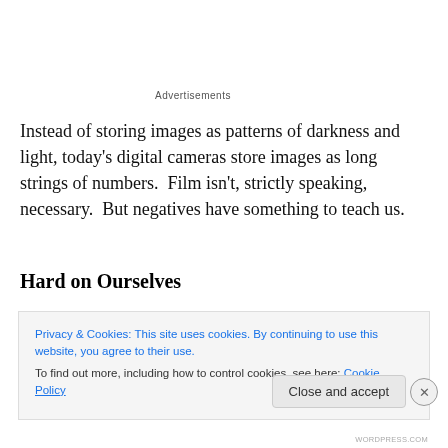Advertisements
Instead of storing images as patterns of darkness and light, today's digital cameras store images as long strings of numbers.  Film isn't, strictly speaking, necessary.  But negatives have something to teach us.
Hard on Ourselves
As abuse victims, we find it easy to be hard on ourselves
Privacy & Cookies: This site uses cookies. By continuing to use this website, you agree to their use.
To find out more, including how to control cookies, see here: Cookie Policy
Close and accept
WORDPRESS.COM